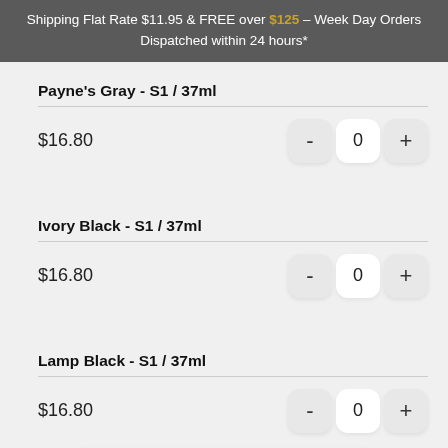Shipping Flat Rate $11.95 & FREE over $125 – Week Day Orders Dispatched within 24 hours*
Payne's Gray - S1 / 37ml
$16.80
Ivory Black - S1 / 37ml
$16.80
Lamp Black - S1 / 37ml
$16.80
Add to Cart